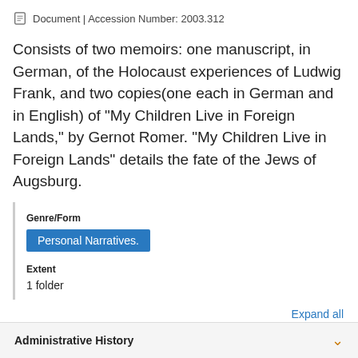Document | Accession Number: 2003.312
Consists of two memoirs: one manuscript, in German, of the Holocaust experiences of Ludwig Frank, and two copies(one each in German and in English) of "My Children Live in Foreign Lands," by Gernot Romer. "My Children Live in Foreign Lands" details the fate of the Jews of Augsburg.
Genre/Form
Personal Narratives.
Extent
1 folder
Expand all
Administrative History